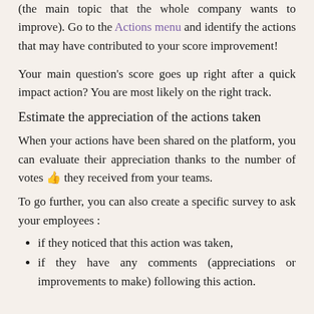(the main topic that the whole company wants to improve). Go to the Actions menu and identify the actions that may have contributed to your score improvement!
Your main question's score goes up right after a quick impact action? You are most likely on the right track.
Estimate the appreciation of the actions taken
When your actions have been shared on the platform, you can evaluate their appreciation thanks to the number of votes 👍 they received from your teams.
To go further, you can also create a specific survey to ask your employees :
if they noticed that this action was taken,
if they have any comments (appreciations or improvements to make) following this action.